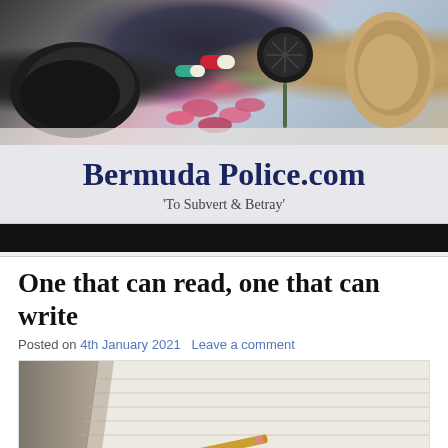[Figure (photo): Header photo showing various drug paraphernalia including a dark rock/stone, pills, a dried poppy flower head, and a nutmeg on a light surface]
Bermuda Police.com
'To Subvert & Betray'
One that can read, one that can write
Posted on 4th January 2021   Leave a comment
[Figure (photo): Close-up photo of an open lined notebook with a pencil or cigarette resting on it, shallow depth of field]